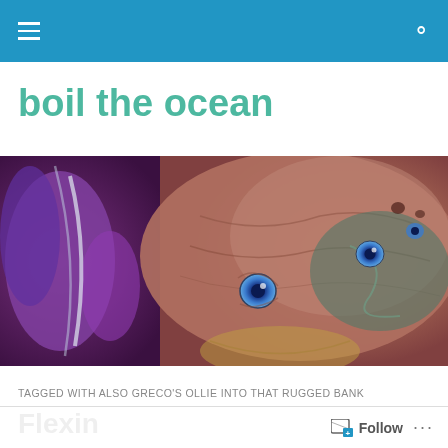Navigation bar with hamburger menu and search icon
boil the ocean
[Figure (illustration): Fantasy/sci-fi illustration of an alien or creature with blue eyes, tentacle-like purple appendages, and detailed skin texture in browns, purples, and teals]
TAGGED WITH ALSO GRECO'S OLLIE INTO THAT RUGGED BANK
Flexin
Follow